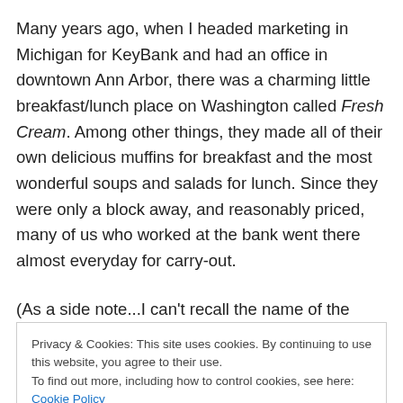Many years ago, when I headed marketing in Michigan for KeyBank and had an office in downtown Ann Arbor, there was a charming little breakfast/lunch place on Washington called Fresh Cream. Among other things, they made all of their own delicious muffins for breakfast and the most wonderful soups and salads for lunch. Since they were only a block away, and reasonably priced, many of us who worked at the bank went there almost everyday for carry-out.
(As a side note...I can't recall the name of the woman who
Privacy & Cookies: This site uses cookies. By continuing to use this website, you agree to their use. To find out more, including how to control cookies, see here: Cookie Policy
My favorite muffin was her pumpkin chocolate chip and I